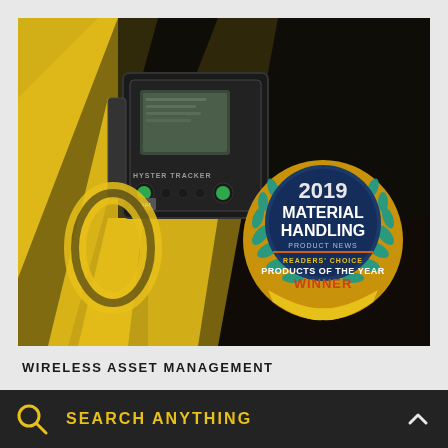[Figure (photo): A yellow and black Hyster Tracker wireless asset management device mounted on a yellow forklift. In the bottom right corner of the photo is a circular award badge reading '2019 Material Handling Product News Readers' Choice Products of the Year Winner'.]
WIRELESS ASSET MANAGEMENT
SEARCH ANYTHING